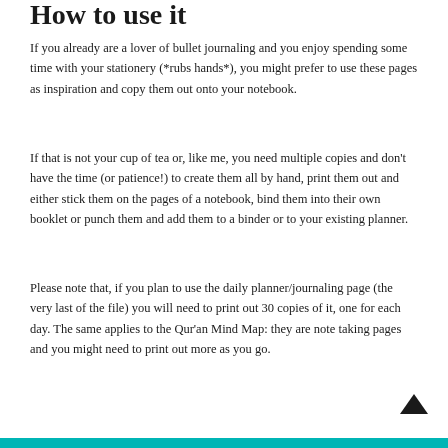How to use it
If you already are a lover of bullet journaling and you enjoy spending some time with your stationery (*rubs hands*), you might prefer to use these pages as inspiration and copy them out onto your notebook.
If that is not your cup of tea or, like me, you need multiple copies and don't have the time (or patience!) to create them all by hand, print them out and either stick them on the pages of a notebook, bind them into their own booklet or punch them and add them to a binder or to your existing planner.
Please note that, if you plan to use the daily planner/journaling page (the very last of the file) you will need to print out 30 copies of it, one for each day. The same applies to the Qur'an Mind Map: they are note taking pages and you might need to print out more as you go.